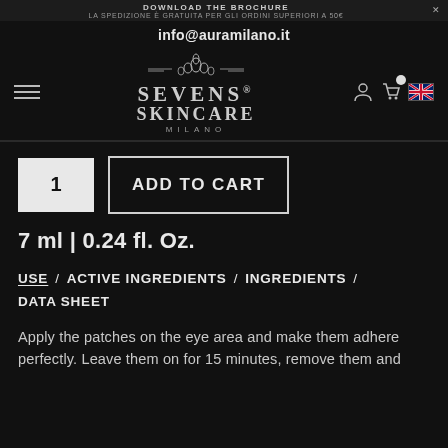DOWNLOAD THE BROCHURE
LA SPEDIZIONE È GRATUITA PER GLI ORDINI SUPERIORI A 50€
info@auramilano.it
[Figure (logo): Sevens Skincare Milano logo with lotus flower ornament]
1
ADD TO CART
7 ml | 0.24 fl. Oz.
USE / ACTIVE INGREDIENTS / INGREDIENTS / DATA SHEET
Apply the patches on the eye area and make them adhere perfectly. Leave them on for 15 minutes, remove them and